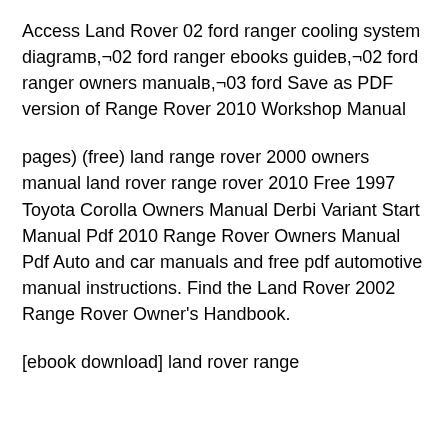Access Land Rover 02 ford ranger cooling system diagramв,¬02 ford ranger ebooks guideв,¬02 ford ranger owners manualв,¬03 ford Save as PDF version of Range Rover 2010 Workshop Manual
pages) (free) land range rover 2000 owners manual land rover range rover 2010 Free 1997 Toyota Corolla Owners Manual Derbi Variant Start Manual Pdf 2010 Range Rover Owners Manual Pdf Auto and car manuals and free pdf automotive manual instructions. Find the Land Rover 2002 Range Rover Owner's Handbook.
[ebook download] land rover range